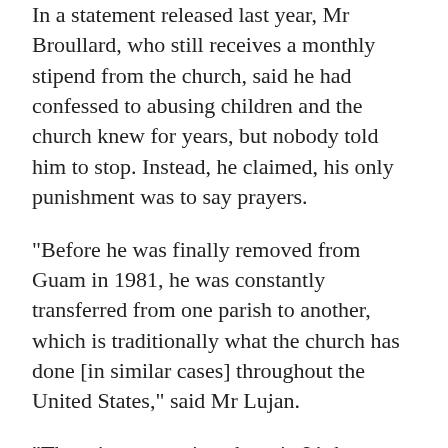In a statement released last year, Mr Broullard, who still receives a monthly stipend from the church, said he had confessed to abusing children and the church knew for years, but nobody told him to stop. Instead, he claimed, his only punishment was to say prayers.
"Before he was finally removed from Guam in 1981, he was constantly transferred from one parish to another, which is traditionally what the church has done [in similar cases] throughout the United States," said Mr Lujan.
"There is no question about it. It's been a huge cover-up."
According to Mr Lujan and four of the lawsuits, the allegations go to the very top of the Catholic Church hierarchy in Guam, Archbishop Anthony Apuron, who is accused of assaulting altar boys as